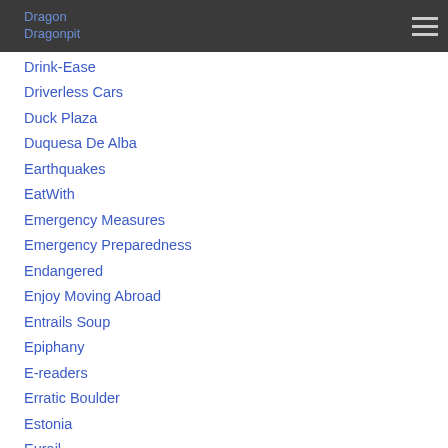Dragon
Dragonpit
Drink-Ease
Driverless Cars
Duck Plaza
Duquesa De Alba
Earthquakes
EatWith
Emergency Measures
Emergency Preparedness
Endangered
Enjoy Moving Abroad
Entrails Soup
Epiphany
E-readers
Erratic Boulder
Estonia
Eurail
Everson Rincon Plots